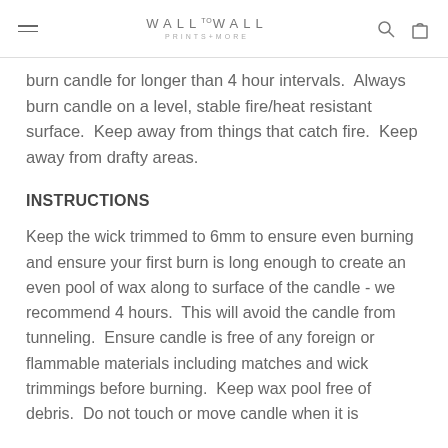WALL TO WALL PRINTS+MORE
burn candle for longer than 4 hour intervals.  Always burn candle on a level, stable fire/heat resistant surface.  Keep away from things that catch fire.  Keep away from drafty areas.
INSTRUCTIONS
Keep the wick trimmed to 6mm to ensure even burning and ensure your first burn is long enough to create an even pool of wax along to surface of the candle - we recommend 4 hours.  This will avoid the candle from tunneling.  Ensure candle is free of any foreign or flammable materials including matches and wick trimmings before burning.  Keep wax pool free of debris.  Do not touch or move candle when it is